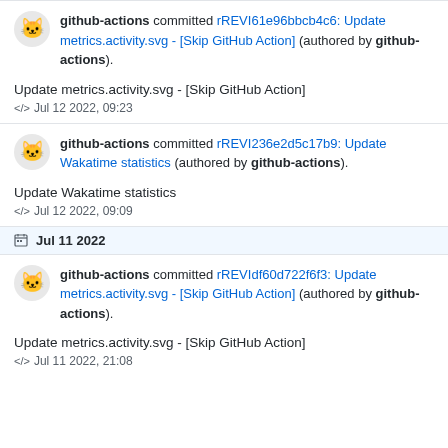github-actions committed rREVI61e96bbcb4c6: Update metrics.activity.svg - [Skip GitHub Action] (authored by github-actions).
Update metrics.activity.svg - [Skip GitHub Action]
Jul 12 2022, 09:23
github-actions committed rREVI236e2d5c17b9: Update Wakatime statistics (authored by github-actions).
Update Wakatime statistics
Jul 12 2022, 09:09
Jul 11 2022
github-actions committed rREVIdf60d722f6f3: Update metrics.activity.svg - [Skip GitHub Action] (authored by github-actions).
Update metrics.activity.svg - [Skip GitHub Action]
Jul 11 2022, 21:08